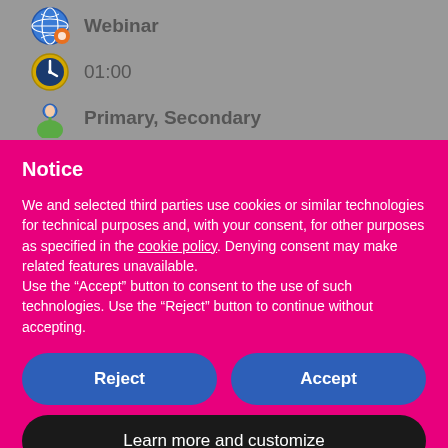Webinar
01:00
Primary, Secondary
Notice
We and selected third parties use cookies or similar technologies for technical purposes and, with your consent, for other purposes as specified in the cookie policy. Denying consent may make related features unavailable.
Use the “Accept” button to consent to the use of such technologies. Use the “Reject” button to continue without accepting.
Reject
Accept
Learn more and customize